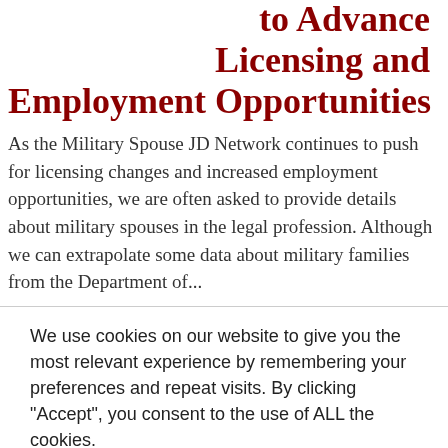to Advance Licensing and Employment Opportunities
As the Military Spouse JD Network continues to push for licensing changes and increased employment opportunities, we are often asked to provide details about military spouses in the legal profession. Although we can extrapolate some data about military families from the Department of...
We use cookies on our website to give you the most relevant experience by remembering your preferences and repeat visits. By clicking “Accept”, you consent to the use of ALL the cookies. Do not sell my personal information.